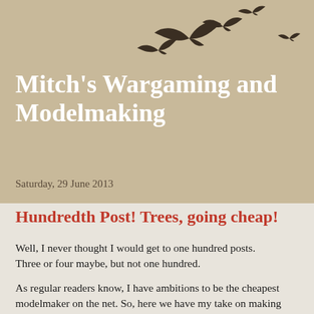Mitch's Wargaming and Modelmaking
Saturday, 29 June 2013
Hundredth Post! Trees, going cheap!
Well, I never thought I would get to one hundred posts. Three or four maybe, but not one hundred.
As regular readers know, I have ambitions to be the cheapest modelmaker on the net. So, here we have my take on making trees on the cheap. Given the underlying theme of stinginess and skinflinting that has underlaid  this blog, I thought something like this would be totally in keeping for my one hundredth post!
Now, trees are not expensive, not on a per-item basis. If you